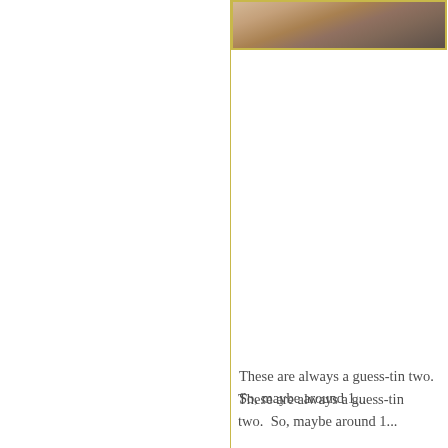[Figure (photo): Partial photo of what appears to be a wood or fabric surface with warm brown tones, shown at the top right of the page, bordered with a gold/yellow frame]
These are always a guess-tim two.  So, maybe around 1...
Sleepers she is now in 3-6 m and pa...